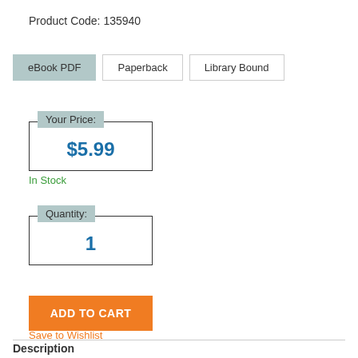Product Code: 135940
eBook PDF
Paperback
Library Bound
Your Price:
$5.99
In Stock
Quantity:
1
ADD TO CART
Save to Wishlist
Description